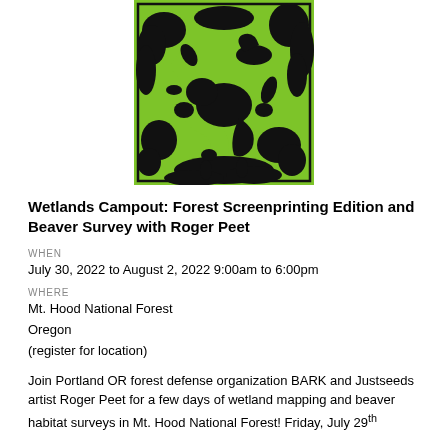[Figure (illustration): Black and green linocut/screenprint style illustration showing a dense wetland/forest scene with a beaver, birds, plants, and a winding river, on a bright lime green background]
Wetlands Campout: Forest Screenprinting Edition and Beaver Survey with Roger Peet
WHEN
July 30, 2022 to August 2, 2022 9:00am to 6:00pm
WHERE
Mt. Hood National Forest
Oregon
(register for location)
Join Portland OR forest defense organization BARK and Justseeds artist Roger Peet for a few days of wetland mapping and beaver habitat surveys in Mt. Hood National Forest! Friday, July 29th